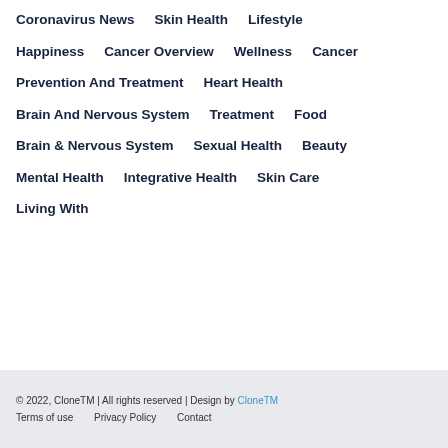Coronavirus News
Skin Health
Lifestyle
Happiness
Cancer Overview
Wellness
Cancer
Prevention And Treatment
Heart Health
Brain And Nervous System
Treatment
Food
Brain & Nervous System
Sexual Health
Beauty
Mental Health
Integrative Health
Skin Care
Living With
© 2022, CloneTM | All rights reserved | Design by CloneTM
Terms of use    Privacy Policy    Contact